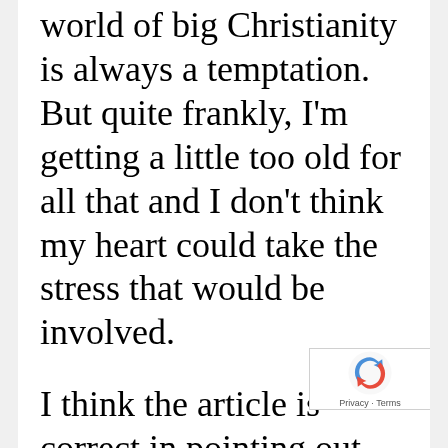world of big Christianity is always a temptation. But quite frankly, I'm getting a little too old for all that and I don't think my heart could take the stress that would be involved.
I think the article is correct in pointing out that people are wary of the church. At least, in my